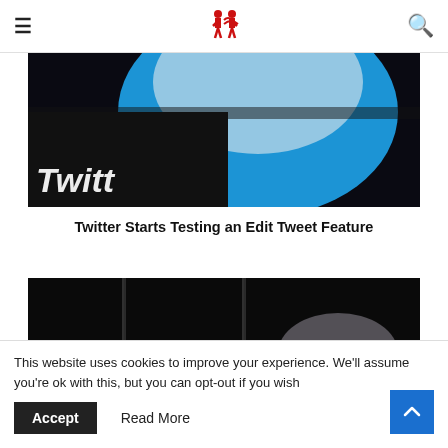[Logo icon] [Hamburger menu] [Search icon]
[Figure (photo): Close-up photo of a Twitter app icon on a dark background, showing the blue Twitter bird logo and the word 'Twitt' in italic white text]
Twitter Starts Testing an Edit Tweet Feature
[Figure (photo): Photo of an Android logo sign glowing green on a dark background with vertical light streaks]
This website uses cookies to improve your experience. We'll assume you're ok with this, but you can opt-out if you wish